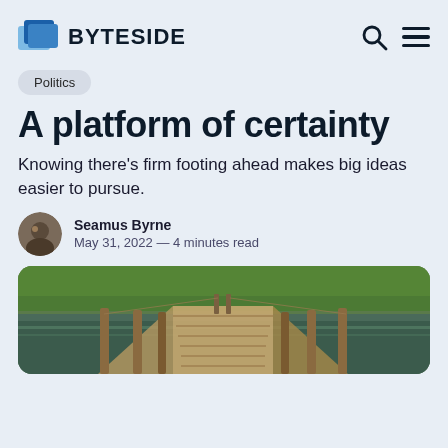BYTESIDE
Politics
A platform of certainty
Knowing there's firm footing ahead makes big ideas easier to pursue.
Seamus Byrne
May 31, 2022 — 4 minutes read
[Figure (photo): A wooden boardwalk/pier with wooden posts extending into the distance, surrounded by green water and vegetation, viewed from ground level perspective.]